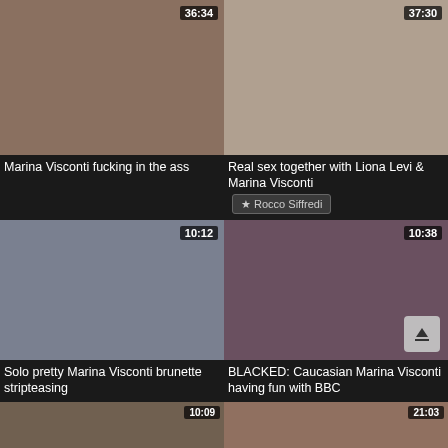[Figure (screenshot): Video thumbnail grid showing adult video titles with durations]
Marina Visconti fucking in the ass
Real sex together with Liona Levi & Marina Visconti
Rocco Siffredi
Solo pretty Marina Visconti brunette stripteasing
BLACKED: Caucasian Marina Visconti having fun with BBC